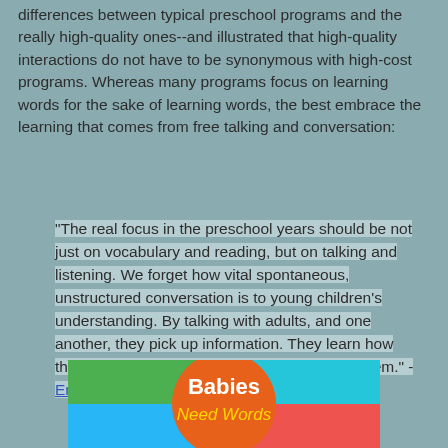differences between typical preschool programs and the really high-quality ones--and illustrated that high-quality interactions do not have to be synonymous with high-cost programs. Whereas many programs focus on learning words for the sake of learning words, the best embrace the learning that comes from free talking and conversation:
"The real focus in the preschool years should be not just on vocabulary and reading, but on talking and listening. We forget how vital spontaneous, unstructured conversation is to young children's understanding. By talking with adults, and one another, they pick up information. They learn how things work. They solve puzzles that trouble them." -Erika Christakis
[Figure (illustration): Babies Need Words logo/banner image with orange circle, green, teal, and blue background panels]